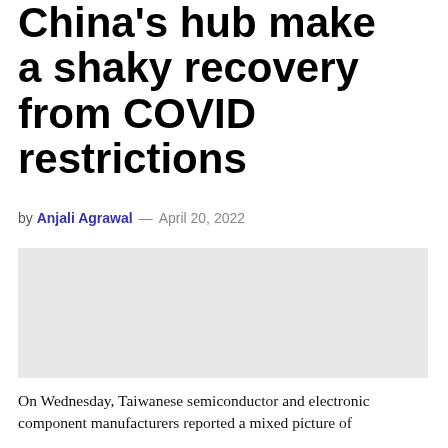China's hub make a shaky recovery from COVID restrictions
by Anjali Agrawal — April 20, 2022
[Figure (photo): Gray placeholder image area for an article photo]
On Wednesday, Taiwanese semiconductor and electronic component manufacturers reported a mixed picture of